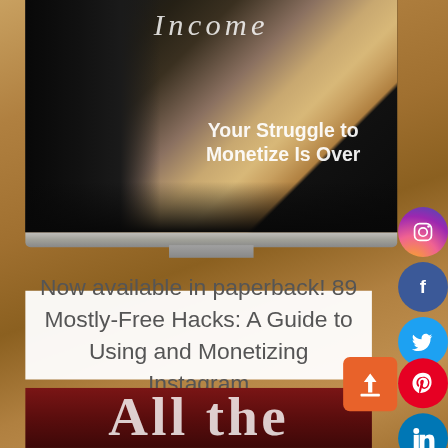[Figure (screenshot): A laptop computer on a wooden desk displaying a website/book cover with the word 'Income' in italic text at the top and 'Your Struggle to Monetize Is Over' overlaid on a dark background with a person in a suit. Social media sharing icons (Instagram, Facebook, Twitter, Pinterest, LinkedIn) appear on the right side along with an upload/share button. A dark red book is partially visible at the bottom with 'All the' text.]
Now available in paperback! 89 Mostly-Free Hacks: A Guide to Using and Monetizing Instagram